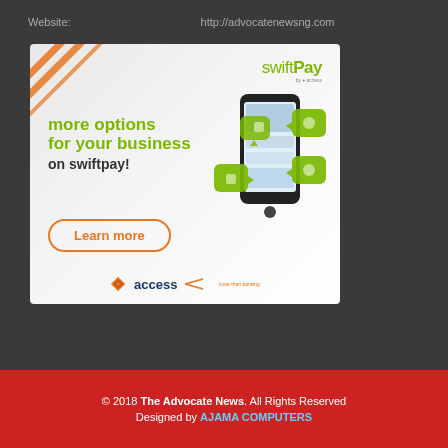Website:    http://advocatenewsng.com
[Figure (illustration): SwiftPay by Access Bank advertisement showing a smartphone with green speech-bubble icons representing business features. Text reads: 'more options for your business on swiftpay!' with a 'Learn more' button and Access Bank logo at the bottom.]
© 2018 The Advocate News. All Rights Reserved Designed by AJAMA COMPUTERS